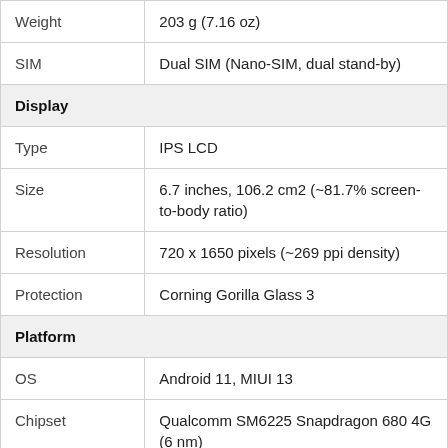| Property | Value |
| --- | --- |
| Weight | 203 g (7.16 oz) |
| SIM | Dual SIM (Nano-SIM, dual stand-by) |
| Display |  |
| Type | IPS LCD |
| Size | 6.7 inches, 106.2 cm2 (~81.7% screen-to-body ratio) |
| Resolution | 720 x 1650 pixels (~269 ppi density) |
| Protection | Corning Gorilla Glass 3 |
| Platform |  |
| OS | Android 11, MIUI 13 |
| Chipset | Qualcomm SM6225 Snapdragon 680 4G (6 nm) |
| CPU | Octa-core (4x2.4 GHz Kryo 265 Gold & 4x1.9 GHz Kryo 265 Silver) |